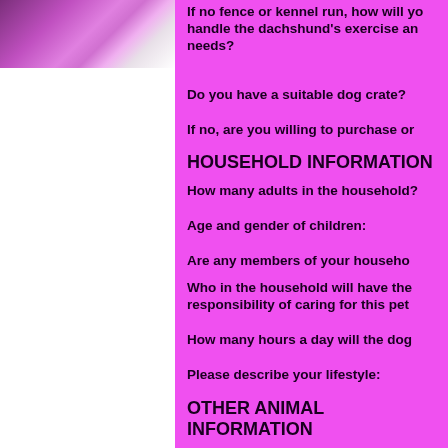[Figure (photo): Purple flowers photo in top-left corner]
If no fence or kennel run, how will you handle the dachshund's exercise and needs?
Do you have a suitable dog crate?
If no, are you willing to purchase one?
HOUSEHOLD INFORMATION
How many adults in the household?
Age and gender of children:
Are any members of your household allergic to animals?
Who in the household will have the responsibility of caring for this pet?
How many hours a day will the dog be alone?
Please describe your lifestyle:
OTHER ANIMAL INFORMATION
Do you own other dogs?